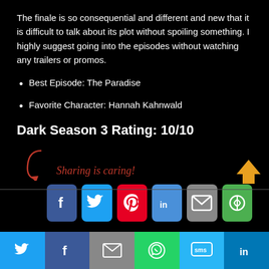The finale is so consequential and different and new that it is difficult to talk about its plot without spoiling something. I highly suggest going into the episodes without watching any trailers or promos.
Best Episode: The Paradise
Favorite Character: Hannah Kahnwald
Dark Season 3 Rating: 10/10
[Figure (infographic): Sharing is caring! text with arrow and social sharing buttons: Facebook, Twitter, Pinterest, LinkedIn, Email, Share]
[Figure (infographic): Bottom navigation bar with Twitter, Facebook, Email, WhatsApp, SMS, LinkedIn icons]